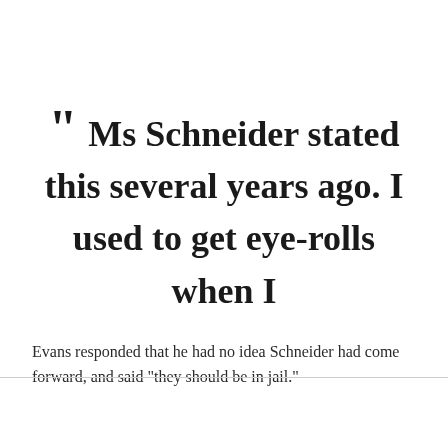“ Ms Schneider stated this several years ago. I used to get eye-rolls when I
Evans responded that he had no idea Schneider had come forward, and said "they should be in jail."